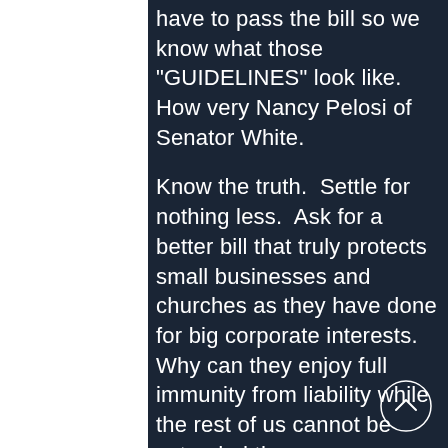have to pass the bill so we know what those "GUIDELINES" look like.  How very Nancy Pelosi of Senator White.
Know the truth.  Settle for nothing less.  Ask for a better bill that truly protects small businesses and churches as they have done for big corporate interests.  Why can they enjoy full immunity from liability while the rest of us cannot be extended the same measure protection?